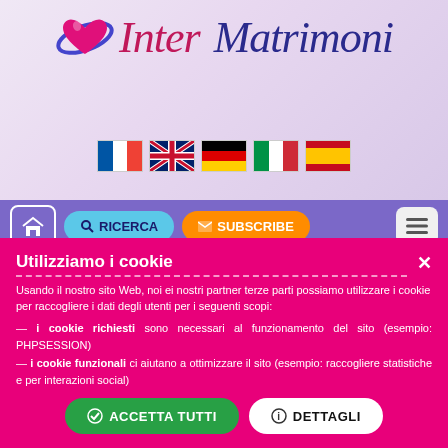[Figure (logo): Inter Matrimoni logo with pink heart and blue orbit ring, with 'Inter Matrimoni' in cursive italic text]
[Figure (infographic): Row of 5 country flags: France, UK, Germany, Italy, Spain]
[Figure (screenshot): Navigation bar with home icon, RICERCA search button, SUBSCRIBE button, and hamburger menu]
Victoria
47 y.o. (Dnipro, Ukraine), Ref #18780
Utilizziamo i cookie
Usando il nostro sito Web, noi ei nostri partner terze parti possiamo utilizzare i cookie per raccogliere i dati degli utenti per i seguenti scopi:
— i cookie richiesti sono necessari al funzionamento del sito (esempio: PHPSESSION)
— i cookie funzionali ci aiutano a ottimizzare il sito (esempio: raccogliere statistiche e per interazioni social)